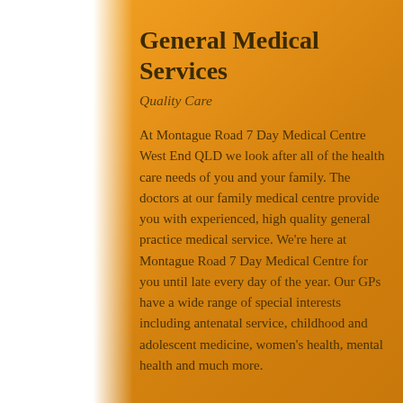General Medical Services
Quality Care
At Montague Road 7 Day Medical Centre West End QLD we look after all of the health care needs of you and your family. The doctors at our family medical centre provide you with experienced, high quality general practice medical service. We're here at Montague Road 7 Day Medical Centre for you until late every day of the year. Our GPs have a wide range of special interests including antenatal service, childhood and adolescent medicine, women's health, mental health and much more.